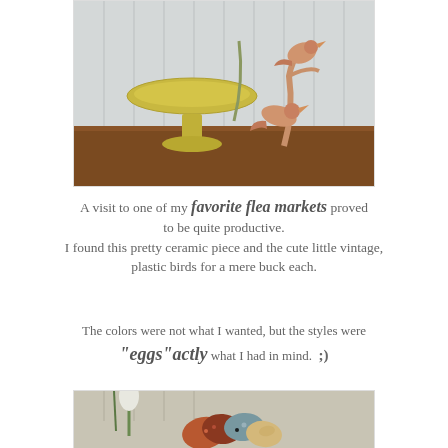[Figure (photo): A yellow ceramic pedestal dish and ceramic bird figurine on a wooden surface against a white paneled wall background.]
A visit to one of my favorite flea markets proved to be quite productive. I found this pretty ceramic piece and the cute little vintage, plastic birds for a mere buck each.
The colors were not what I wanted, but the styles were "eggs"actly what I had in mind. ;)
[Figure (photo): Decorated Easter eggs in terracotta, blue, and natural colors, with plants/tulips in background, against white paneled wall.]